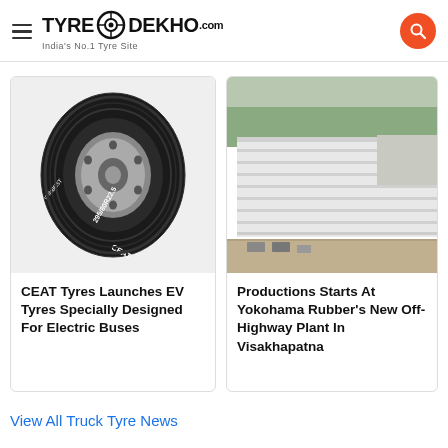TyreDekho.com — India's No.1 Tyre Site
[Figure (photo): CEAT truck tyre (WINBEST) product photo on white/grey background]
CEAT Tyres Launches EV Tyres Specially Designed For Electric Buses
[Figure (photo): Aerial view of an industrial/manufacturing plant building]
Productions Starts At Yokohama Rubber's New Off-Highway Plant In Visakhapatna
View All Truck Tyre News